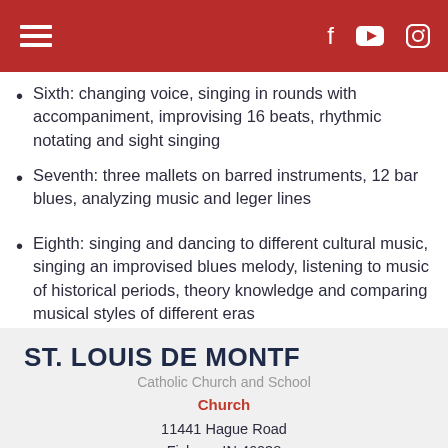Navigation bar with hamburger menu and social icons (Facebook, YouTube, Instagram)
Sixth: changing voice, singing in rounds with accompaniment, improvising 16 beats, rhythmic notating and sight singing
Seventh: three mallets on barred instruments, 12 bar blues, analyzing music and leger lines
Eighth: singing and dancing to different cultural music, singing an improvised blues melody, listening to music of historical periods, theory knowledge and comparing musical styles of different eras
ST. LOUIS DE MONTF
Catholic Church and School
Church
11441 Hague Road
Fishers, IN 46038
(317) 842-6778